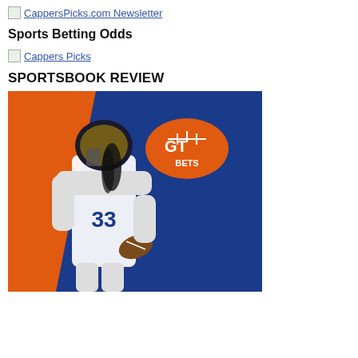CappersPicks.com Newsletter
Sports Betting Odds
Cappers Picks
SPORTSBOOK REVIEW
[Figure (photo): NFL player in white Rams uniform number 33 carrying a football, with GT Bets football logo on an orange, blue background]